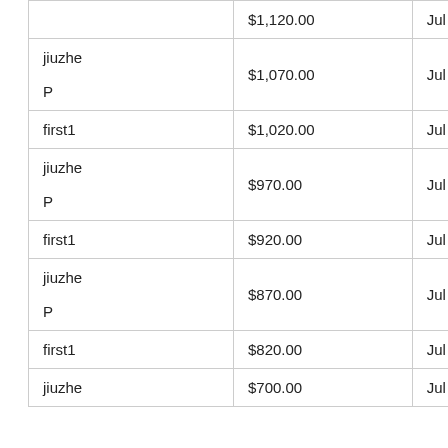|  | $1,120.00 | Jul 21 | 13:02:37 |
| jiuzhe

P | $1,070.00 | Jul 21 | 13:01:39 |
| first1 | $1,020.00 | Jul 21 | 13:01:39 |
| jiuzhe

P | $970.00 | Jul 21 | 13:01:17 |
| first1 | $920.00 | Jul 21 | 13:01:17 |
| jiuzhe

P | $870.00 | Jul 21 | 12:59:19 |
| first1 | $820.00 | Jul 21 | 12:59:19 |
| jiuzhe | $700.00 | Jul 21 | 12:58:29 |